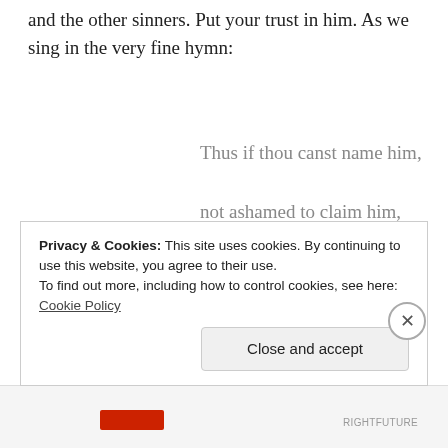and the other sinners. Put your trust in him. As we sing in the very fine hymn:
Thus if thou canst name him,
not ashamed to claim him,
but wilt trust him boldly
nor dost love him coldly,
Privacy & Cookies: This site uses cookies. By continuing to use this website, you agree to their use.
To find out more, including how to control cookies, see here: Cookie Policy
Close and accept